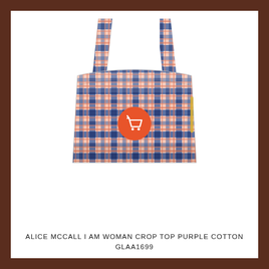[Figure (photo): Alice McCall I Am Woman crop top in purple/blue/pink plaid cotton fabric with thin shoulder straps and an orange shopping cart button overlay in the center]
ALICE MCCALL I AM WOMAN CROP TOP PURPLE COTTON GLAA1699